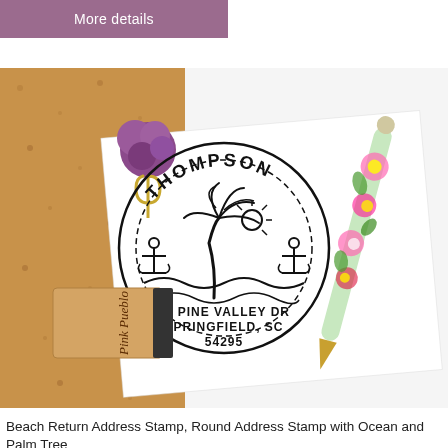[Figure (screenshot): Purple/mauve 'More details' button at the top left of the page]
[Figure (photo): Product photo of a Beach Return Address Stamp (round stamp with THOMPSON name, palm tree, anchors, ocean waves, and address 76 PINE VALLEY DR, SPRINGFIELD, SC 54295) displayed on a white envelope pinned to a cork board, with a Pink Pueblo rubber stamp block and a floral-patterned pen visible. Purple pom-pom paper clip on the envelope.]
Beach Return Address Stamp, Round Address Stamp with Ocean and Palm Tree